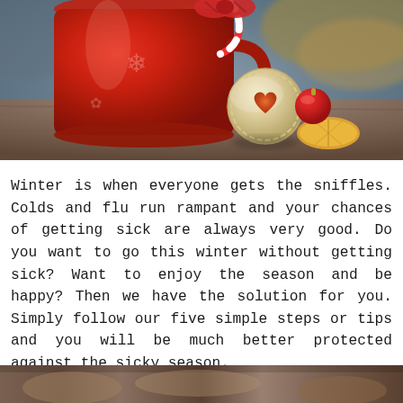[Figure (photo): A red Christmas mug with a candy cane and a gingerbread/linzer cookie with a heart-shaped jam center, sitting on a wooden surface with a dried orange slice and a red ornament ball, photographed in warm winter light.]
Winter is when everyone gets the sniffles. Colds and flu run rampant and your chances of getting sick are always very good. Do you want to go this winter without getting sick? Want to enjoy the season and be happy? Then we have the solution for you. Simply follow our five simple steps or tips and you will be much better protected against the sicky season.
[Figure (photo): Partial view of a second winter-themed photo at the bottom of the page.]